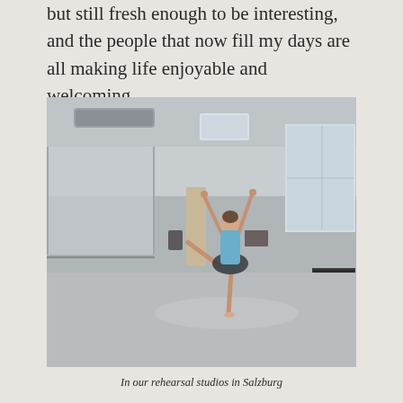but still fresh enough to be interesting, and the people that now fill my days are all making life enjoyable and welcoming.
[Figure (photo): A ballet dancer in a blue top and black skirt performing an arabesque on pointe in a large rehearsal studio. The studio has mirrors on the left wall, a barre, large windows on the right, and a piano in the background.]
In our rehearsal studios in Salzburg